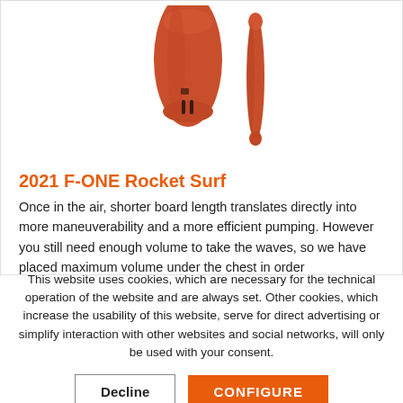[Figure (photo): Two red/orange F-ONE Rocket Surf surfboards shown from front and side angles against white background]
2021 F-ONE Rocket Surf
Once in the air, shorter board length translates directly into more maneuverability and a more efficient pumping. However you still need enough volume to take the waves, so we have placed maximum volume under the chest in order
This website uses cookies, which are necessary for the technical operation of the website and are always set. Other cookies, which increase the usability of this website, serve for direct advertising or simplify interaction with other websites and social networks, will only be used with your consent.
Decline
CONFIGURE